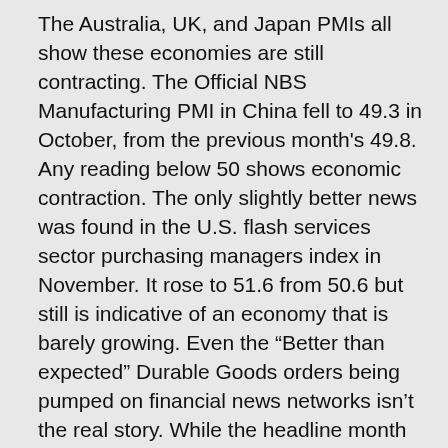The Australia, UK, and Japan PMIs all show these economies are still contracting. The Official NBS Manufacturing PMI in China fell to 49.3 in October, from the previous month's 49.8. Any reading below 50 shows economic contraction. The only slightly better news was found in the U.S. flash services sector purchasing managers index in November. It rose to 51.6 from 50.6 but still is indicative of an economy that is barely growing. Even the "Better than expected" Durable Goods orders being pumped on financial news networks isn't the real story. While the headline month over month reading for October climbed by 0.6%, the year over year number declined by 0.7%. And, the important Core Capital Goods New Orders figure fell by 0.8% YoY. Falling capital goods means business is not investing in productive assets and GDP growth will indeed suffer as a result.